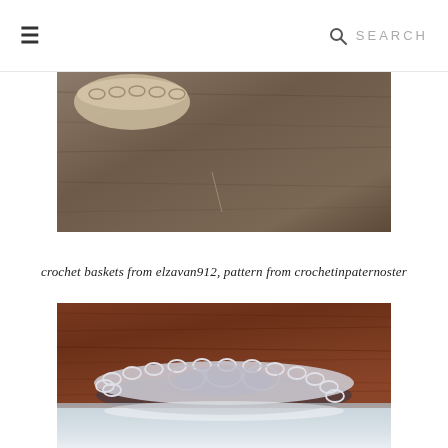☰  SEARCH
[Figure (photo): Close-up photo of a tan/beige crochet basket on a dark wooden surface]
crochet baskets from elzavan912, pattern from crochetinpaternoster
[Figure (photo): Close-up photo of a white/silver crochet doily or basket placed on a dark reddish-brown wooden surface, with a white/light reflection visible at the bottom]